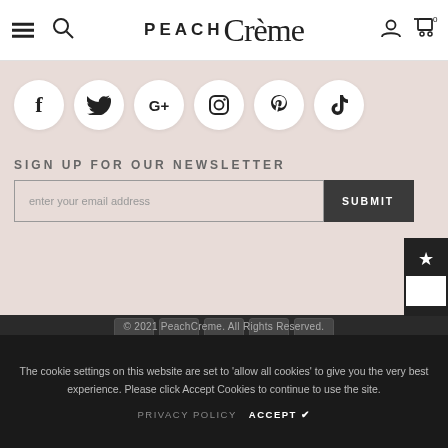PEACH Crème — navigation header with hamburger, search, logo, user and cart icons
[Figure (infographic): Social media icons in white circles on a dusty rose background: Facebook, Twitter, Google+, Instagram, Pinterest, TikTok]
SIGN UP FOR OUR NEWSLETTER
enter your email address [input field] SUBMIT [button]
© 2021 PeachCreme. All Rights Reserved.
The cookie settings on this website are set to 'allow all cookies' to give you the very best experience. Please click Accept Cookies to continue to use the site.
PRIVACY POLICY   ACCEPT ✔